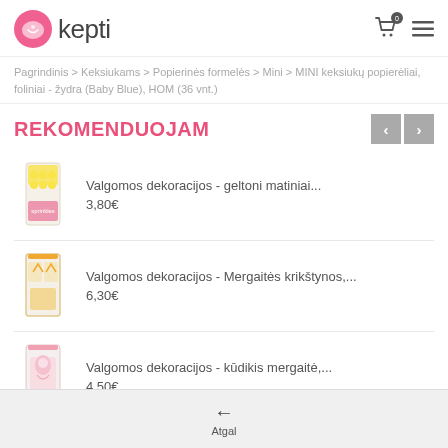smagu kepti — header with cart and menu icons
Pagrindinis > Keksiukams > Popierinės formelės > Mini > MINI keksiukų popierėliai, foliniai - žydra (Baby Blue), HOM (36 vnt.)
REKOMENDUOJAM
Valgomos dekoracijos - geltoni matiniai...
3,80€
Valgomos dekoracijos - Mergaitės krikštynos,...
6,30€
Valgomos dekoracijos - kūdikis mergaitė,...
4,50€
Atgal